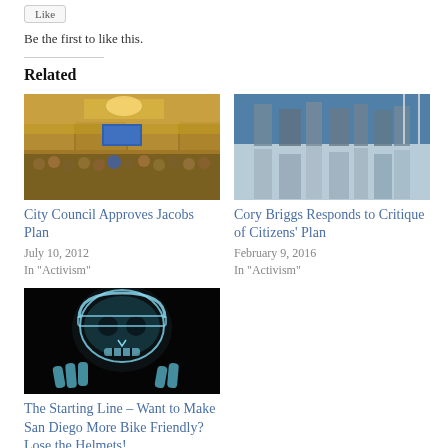Be the first to like this.
Related
[Figure (photo): City council meeting room with audience and screen]
City Council Approves Jacobs Plan
July 10, 2012
In "Activism"
[Figure (photo): Cityscape reflected in water, upside down]
Cory Briggs Responds to Critique of Citizens' Plan
February 9, 2016
In "Activism"
[Figure (photo): X-ray style image of skull with bicycle helmet and hands]
The Starting Line – Want to Make San Diego More Bike Friendly? Lose the Helmets!